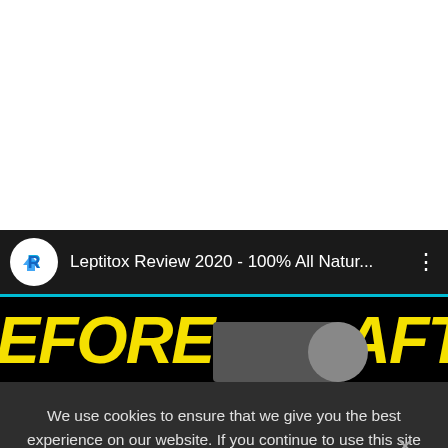[Figure (screenshot): White blank area at top of page (browser upper area)]
[Figure (screenshot): YouTube video bar showing channel logo with 'R' icon, video title 'Leptitox Review 2020 - 100% All Natur...' in white on dark background with teal bottom border, and three-dot menu icon]
[Figure (screenshot): Before/After video thumbnail showing yellow bold italic 'EFORE' on left and 'AFTER' on right on black background with person silhouettes]
We use cookies to ensure that we give you the best experience on our website. If you continue to use this site we will assume that you are happy with it.